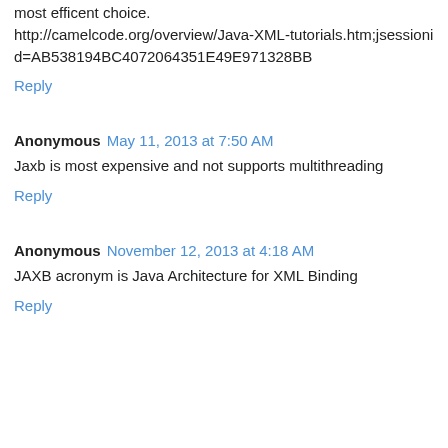most efficent choice. http://camelcode.org/overview/Java-XML-tutorials.htm;jsessionid=AB538194BC4072064351E49E971328BB
Reply
Anonymous  May 11, 2013 at 7:50 AM
Jaxb is most expensive and not supports multithreading
Reply
Anonymous  November 12, 2013 at 4:18 AM
JAXB acronym is Java Architecture for XML Binding
Reply